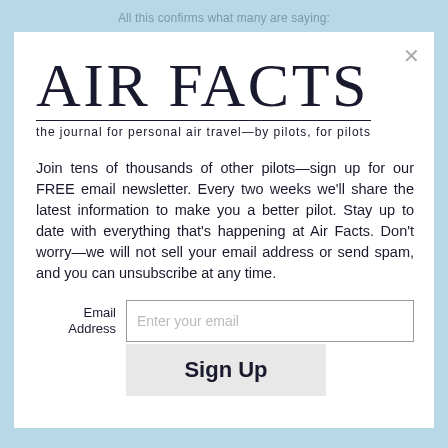All this confirms what many are saying:
AIR FACTS
the journal for personal air travel—by pilots, for pilots
Join tens of thousands of other pilots—sign up for our FREE email newsletter. Every two weeks we'll share the latest information to make you a better pilot. Stay up to date with everything that's happening at Air Facts. Don't worry—we will not sell your email address or send spam, and you can unsubscribe at any time.
Email Address  [Enter your email]
Sign Up